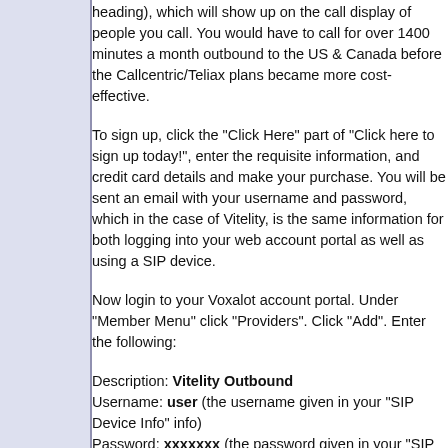heading), which will show up on the call display of people you call. You would have to call for over 1400 minutes a month outbound to the US & Canada before the Callcentric/Teliax plans became more cost-effective.
To sign up, click the "Click Here" part of "Click here to sign up today!", enter the requisite information, and credit card details and make your purchase. You will be sent an email with your username and password, which in the case of Vitelity, is the same information for both logging into your web account portal as well as using a SIP device.
Now login to your Voxalot account portal. Under "Member Menu" click "Providers". Click "Add". Enter the following:
Description: Vitelity Outbound
Username: user (the username given in your "SIP Device Info" info)
Password: xxxxxxx (the password given in your "SIP Device Info" info)

Confirm Password: xxxxxxx (the password given in your "SIP Device Info" info)
Codecs: ulaw;alaw;g726;g729;ilbc;gsm (enter this if you have greater than or equal 256kbps uplink and live in N. America)